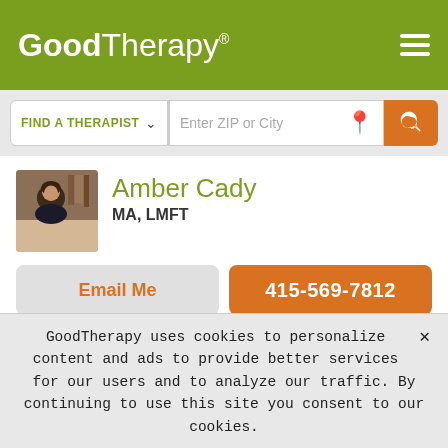GoodTherapy®
[Figure (screenshot): Search bar with FIND A THERAPIST dropdown and Enter ZIP or City input with location icon and orange search button]
[Figure (photo): Profile photo of Amber Cady, a woman with dark hair]
Amber Cady
MA, LMFT
Email Me
415-569-7812
Stress
TYPES OF THERAPY
Mindfulness-Based Interventions
Nonviolent Communication (NVC)
GoodTherapy uses cookies to personalize content and ads to provide better services for our users and to analyze our traffic. By continuing to use this site you consent to our cookies.